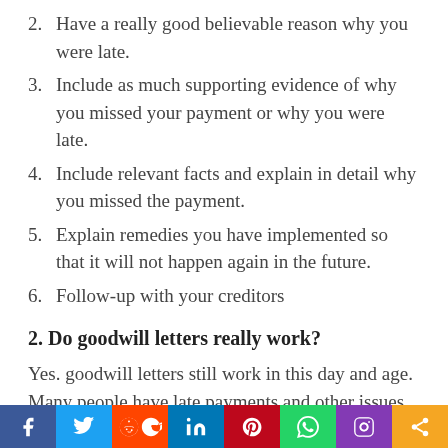2. Have a really good believable reason why you were late.
3. Include as much supporting evidence of why you missed your payment or why you were late.
4. Include relevant facts and explain in detail why you missed the payment.
5. Explain remedies you have implemented so that it will not happen again in the future.
6. Follow-up with your creditors
2. Do goodwill letters really work?
Yes. goodwill letters still work in this day and age. Many people have late payments and other issues